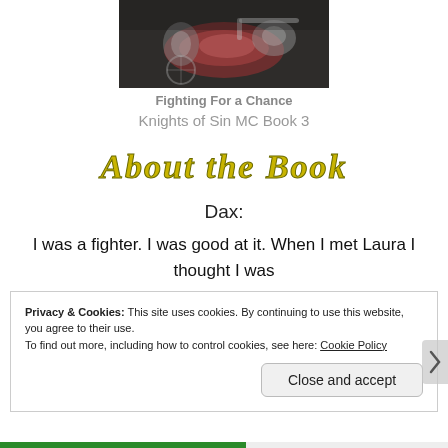[Figure (photo): Partial view of a motorcycle book cover showing chrome and dark red motorcycle tank, darkened/muted tones]
Fighting For a Chance
Knights of Sin MC Book 3
About the Book
Dax:
I was a fighter. I was good at it. When I met Laura I thought I was
having a round of hot sex like usual. When I saw her
Privacy & Cookies: This site uses cookies. By continuing to use this website, you agree to their use.
To find out more, including how to control cookies, see here: Cookie Policy
Close and accept